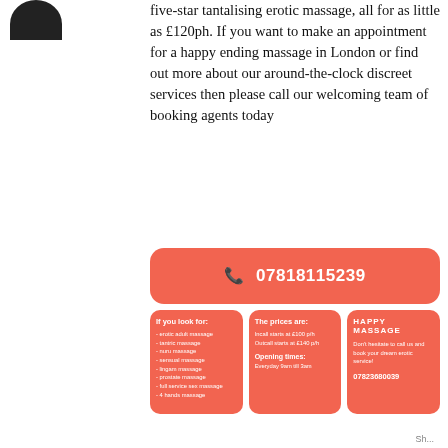[Figure (illustration): Dark silhouette avatar icon, top-left corner]
five-star tantalising erotic massage, all for as little as £120ph. If you want to make an appointment for a happy ending massage in London or find out more about our around-the-clock discreet services then please call our welcoming team of booking agents today
📞 07818115239
If you look for:
- erotic adult massage
- tantric massage
- nuru massage
- sensual massage
- lingam massage
- prostate massage
- full service sex massage
- 4 hands massage
The prices are:
Incall starts at £100 p/h
Outcall starts at £140 p/h

Opening times:
Everyday 9am till 3am
HAPPY MASSAGE
Don't hesitate to call us and book your dream erotic service!
07823680039